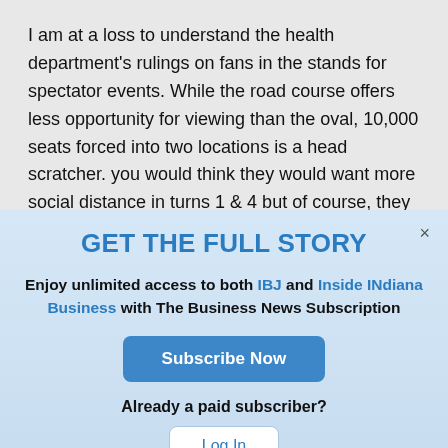I am at a loss to understand the health department's rulings on fans in the stands for spectator events. While the road course offers less opportunity for viewing than the oval, 10,000 seats forced into two locations is a head scratcher. you would think they would want more social distance in turns 1 & 4 but of course, they actually have and then some. This begs the question as to seating across from the pits and video boards, seating
GET THE FULL STORY
Enjoy unlimited access to both IBJ and Inside INdiana Business with The Business News Subscription
Subscribe Now
Already a paid subscriber?
Log In